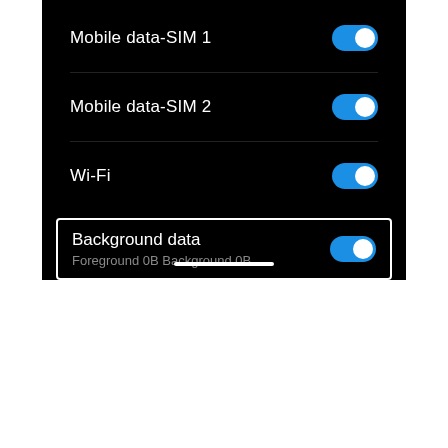[Figure (screenshot): Android phone settings screen showing network data toggles: Mobile data-SIM 1 (on), Mobile data-SIM 2 (on), Wi-Fi (on), Background data (on) with subtitle 'Foreground 0B  Background 0B'. Background data row is highlighted with a white border rectangle. A home bar is visible at the bottom.]